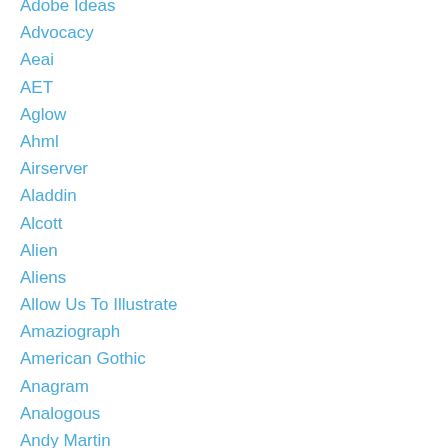Adobe Ideas
Advocacy
Aeai
AET
Aglow
Ahml
Airserver
Aladdin
Alcott
Alien
Aliens
Allow Us To Illustrate
Amaziograph
American Gothic
Anagram
Analogous
Andy Martin
Andy Warhol
A Nest For Celeste
Angelico